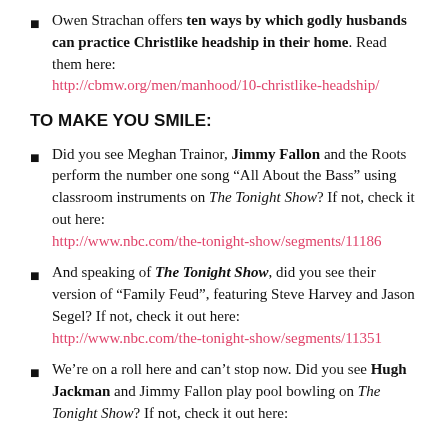Owen Strachan offers ten ways by which godly husbands can practice Christlike headship in their home. Read them here: http://cbmw.org/men/manhood/10-christlike-headship/
TO MAKE YOU SMILE:
Did you see Meghan Trainor, Jimmy Fallon and the Roots perform the number one song “All About the Bass” using classroom instruments on The Tonight Show? If not, check it out here: http://www.nbc.com/the-tonight-show/segments/11186
And speaking of The Tonight Show, did you see their version of “Family Feud”, featuring Steve Harvey and Jason Segel? If not, check it out here: http://www.nbc.com/the-tonight-show/segments/11351
We’re on a roll here and can’t stop now. Did you see Hugh Jackman and Jimmy Fallon play pool bowling on The Tonight Show? If not, check it out here: